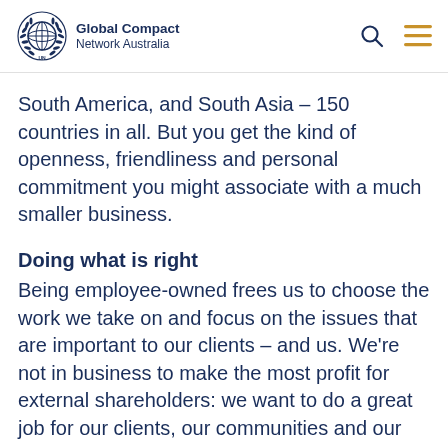Global Compact Network Australia
South America, and South Asia – 150 countries in all. But you get the kind of openness, friendliness and personal commitment you might associate with a much smaller business.
Doing what is right
Being employee-owned frees us to choose the work we take on and focus on the issues that are important to our clients – and us. We're not in business to make the most profit for external shareholders: we want to do a great job for our clients, our communities and our people. We are independent in thought and action, which means we advise what is genuinely right for our clients,